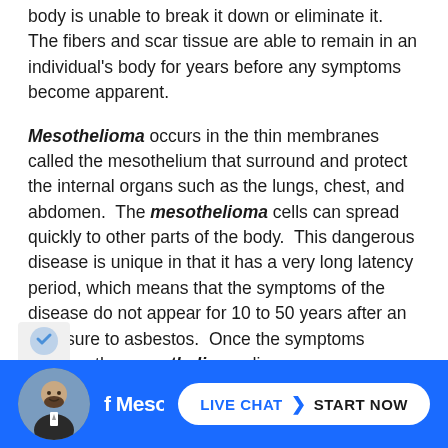body is unable to break it down or eliminate it. The fibers and scar tissue are able to remain in an individual's body for years before any symptoms become apparent.
Mesothelioma occurs in the thin membranes called the mesothelium that surround and protect the internal organs such as the lungs, chest, and abdomen. The mesothelioma cells can spread quickly to other parts of the body. This dangerous disease is unique in that it has a very long latency period, which means that the symptoms of the disease do not appear for 10 to 50 years after an exposure to asbestos. Once the symptoms surface, the mesothelioma disease progresses quickly and most patients die within two years of a diagnosis. There are three major types of mesothelioma.
[Figure (screenshot): Website footer bar with blue background showing a reCAPTCHA icon, a partial section heading 'Types of Mesothelioma', an avatar photo of a man, and a white pill-shaped live chat button reading 'LIVE CHAT START NOW'.]